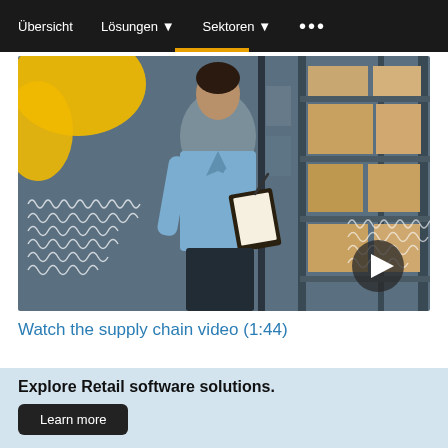Übersicht   Lösungen ▾   Sektoren ▾   •••
[Figure (screenshot): Video thumbnail showing a woman in a blue shirt writing on a clipboard in a warehouse with shelves and boxes. Waveform overlays on left side. Play button in bottom right. Yellow abstract shape top left.]
Watch the supply chain video (1:44)
Explore Retail software solutions.
Learn more